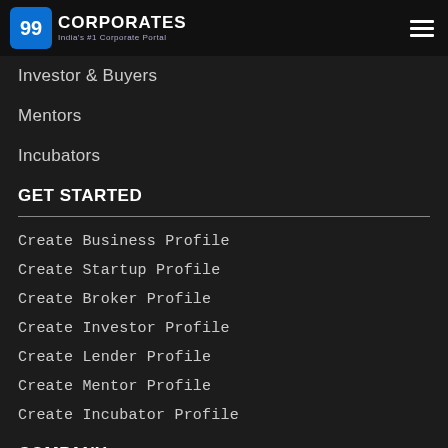99 CORPORATES India's #1 Corporate Portal
Investor & Buyers
Mentors
Incubators
GET STARTED
Create Business Profile
Create Startup Profile
Create Broker Profile
Create Investor Profile
Create Lender Profile
Create Mentor Profile
Create Incubator Profile
COMPANY
About Us